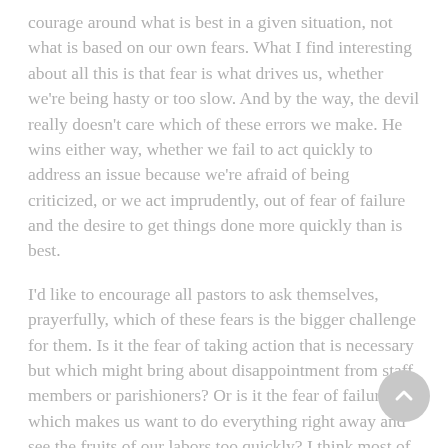courage around what is best in a given situation, not what is based on our own fears. What I find interesting about all this is that fear is what drives us, whether we're being hasty or too slow. And by the way, the devil really doesn't care which of these errors we make. He wins either way, whether we fail to act quickly to address an issue because we're afraid of being criticized, or we act imprudently, out of fear of failure and the desire to get things done more quickly than is best.
I'd like to encourage all pastors to ask themselves, prayerfully, which of these fears is the bigger challenge for them. Is it the fear of taking action that is necessary but which might bring about disappointment from staff members or parishioners? Or is it the fear of failure which makes us want to do everything right away and see the fruits of our labors too quickly? I think most of us are inclined in one way or the other. I tend to be rash and impatient.
Check your answer with your leadership team, see if you're assessing yourself correctly, and then make sure everyone on the team knows where you fall on the